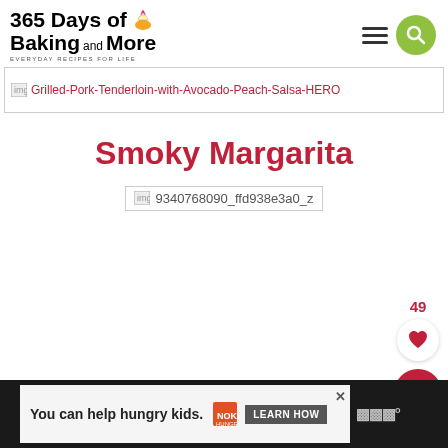365 Days of Baking and More — EVERYDAY RECIPES FOR LIFE
[Figure (photo): Broken image placeholder: Grilled-Pork-Tenderloin-with-Avocado-Peach-Salsa-HERO]
Smoky Margarita
[Figure (photo): Broken image placeholder: 9340768090_ffd938e3a0_z]
49
[Figure (infographic): Social share / save buttons: heart (favorites) and search buttons on right side]
You can help hungry kids. NO KID HUNGRY LEARN HOW